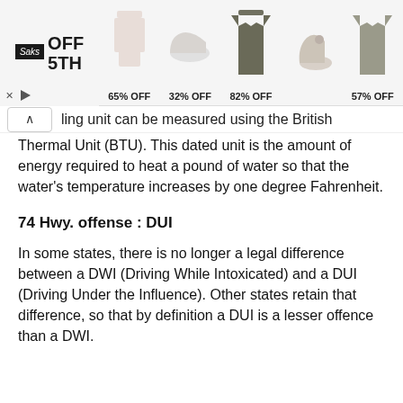[Figure (screenshot): Saks OFF 5TH advertisement banner showing clothing and shoes with discount percentages: 65% OFF, 32% OFF, 82% OFF, 57% OFF]
...ling unit can be measured using the British Thermal Unit (BTU). This dated unit is the amount of energy required to heat a pound of water so that the water's temperature increases by one degree Fahrenheit.
74 Hwy. offense : DUI
In some states, there is no longer a legal difference between a DWI (Driving While Intoxicated) and a DUI (Driving Under the Influence). Other states retain that difference, so that by definition a DUI is a lesser offence than a DWI.